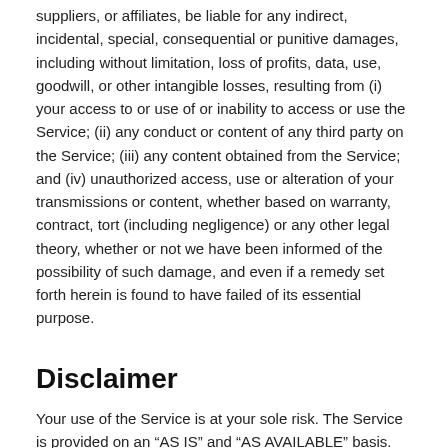suppliers, or affiliates, be liable for any indirect, incidental, special, consequential or punitive damages, including without limitation, loss of profits, data, use, goodwill, or other intangible losses, resulting from (i) your access to or use of or inability to access or use the Service; (ii) any conduct or content of any third party on the Service; (iii) any content obtained from the Service; and (iv) unauthorized access, use or alteration of your transmissions or content, whether based on warranty, contract, tort (including negligence) or any other legal theory, whether or not we have been informed of the possibility of such damage, and even if a remedy set forth herein is found to have failed of its essential purpose.
Disclaimer
Your use of the Service is at your sole risk. The Service is provided on an “AS IS” and “AS AVAILABLE” basis. The Service is provided without warranties of any kind, whether express or implied, including, but not limited to, implied warranties of merchantability, fitness for a particular purpose, non-infringement or course of performance.
N Scale Shop its subsidiaries, affiliates, and its licensors do not warrant that a) the Service will function uninterrupted, secure or available at any particular time or location; b) any errors or defects will be corrected; c) the Service is free of viruses or other harmful components; or d) the results of using the